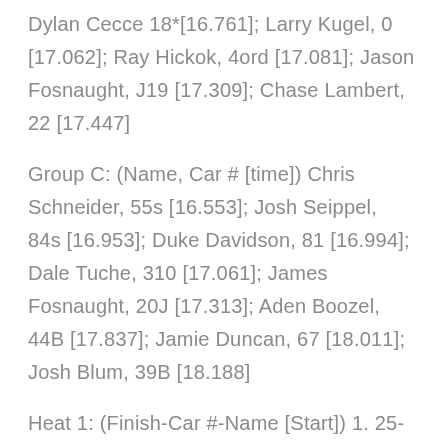Dylan Cecce 18*[16.761]; Larry Kugel, 0 [17.062]; Ray Hickok, 4ord [17.081]; Jason Fosnaught, J19 [17.309]; Chase Lambert, 22 [17.447]
Group C: (Name, Car # [time]) Chris Schneider, 55s [16.553]; Josh Seippel, 84s [16.953]; Duke Davidson, 81 [16.994]; Dale Tuche, 310 [17.061]; James Fosnaught, 20J [17.313]; Aden Boozel, 44B [17.837]; Jamie Duncan, 67 [18.011]; Josh Blum, 39B [18.188]
Heat 1: (Finish-Car #-Name [Start]) 1. 25-Andrew Gordon [1]; 2. 7W-Bobby Whitling [2]; 3. 29-Curtis J. Bish [4]; 4.